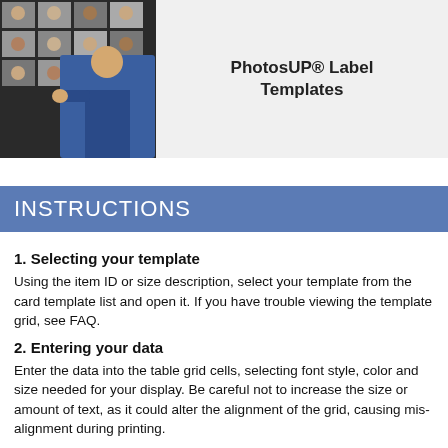[Figure (photo): Product photo showing a grid of ID/label card photos with a person in a blue suit presenting them, on a grey background]
PhotosUP® Label Templates
INSTRUCTIONS
1. Selecting your template
Using the item ID or size description, select your template from the card template list and open it. If you have trouble viewing the template grid, see FAQ.
2. Entering your data
Enter the data into the table grid cells, selecting font style, color and size needed for your display. Be careful not to increase the size or amount of text, as it could alter the alignment of the grid, causing mis-alignment during printing.
3. Print your cards